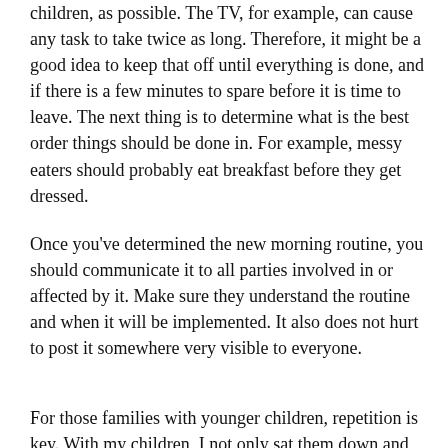children, as possible. The TV, for example, can cause any task to take twice as long. Therefore, it might be a good idea to keep that off until everything is done, and if there is a few minutes to spare before it is time to leave. The next thing is to determine what is the best order things should be done in. For example, messy eaters should probably eat breakfast before they get dressed.
Once you've determined the new morning routine, you should communicate it to all parties involved in or affected by it. Make sure they understand the routine and when it will be implemented. It also does not hurt to post it somewhere very visible to everyone.
For those families with younger children, repetition is key. With my children, I not only sat them down and told them what the new morning routine was going to be, I had them repeat it a few times with me. Then I physically walked them through it while acting out each piece and